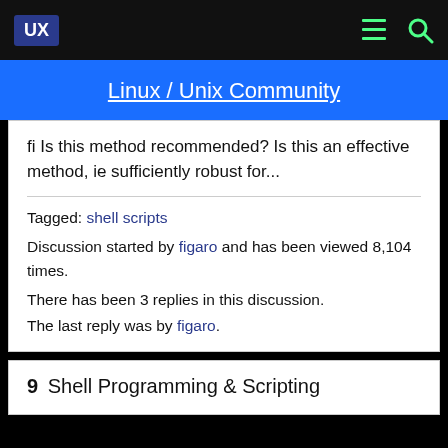UX | Linux / Unix Community
fi Is this method recommended? Is this an effective method, ie sufficiently robust for...
Tagged: shell scripts
Discussion started by figaro and has been viewed 8,104 times.
There has been 3 replies in this discussion.
The last reply was by figaro.
9  Shell Programming & Scripting